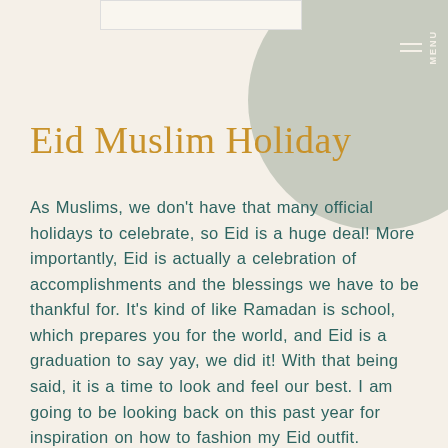Eid Muslim Holiday
As Muslims, we don't have that many official holidays to celebrate, so Eid is a huge deal! More importantly, Eid is actually a celebration of accomplishments and the blessings we have to be thankful for. It's kind of like Ramadan is school, which prepares you for the world, and Eid is a graduation to say yay, we did it! With that being said, it is a time to look and feel our best. I am going to be looking back on this past year for inspiration on how to fashion my Eid outfit.
With Ramadan keeping us busy, many of us have not yet decided on our looks for the